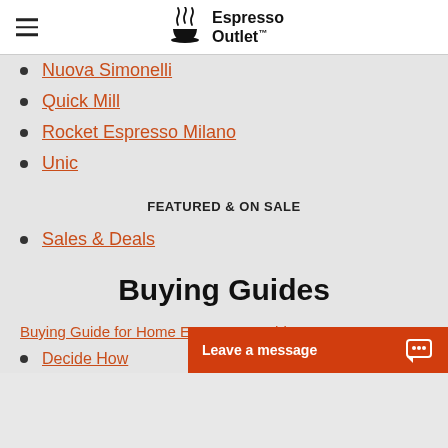Espresso Outlet
Nuova Simonelli
Quick Mill
Rocket Espresso Milano
Unic
FEATURED & ON SALE
Sales & Deals
Buying Guides
Buying Guide for Home Espresso Machines
Decide How
Leave a message